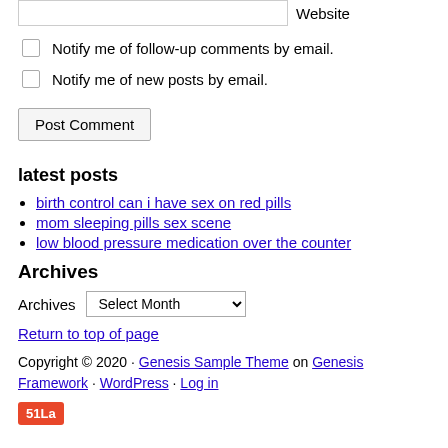Website (input field)
Notify me of follow-up comments by email.
Notify me of new posts by email.
Post Comment (button)
latest posts
birth control can i have sex on red pills
mom sleeping pills sex scene
low blood pressure medication over the counter
Archives
Archives  Select Month
Return to top of page
Copyright © 2020 · Genesis Sample Theme on Genesis Framework · WordPress · Log in